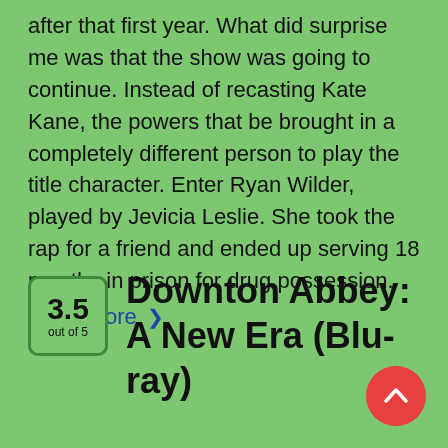after that first year. What did surprise me was that the show was going to continue. Instead of recasting Kate Kane, the powers that be brought in a completely different person to play the title character. Enter Ryan Wilder, played by Jevicia Leslie. She took the rap for a friend and ended up serving 18 months in prison for drug possession.
Read More >
[Figure (other): Rating badge showing 3.5 out of 5 in a rounded green square]
Downton Abbey: A New Era (Blu-ray)